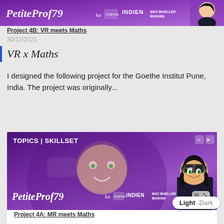[Figure (illustration): Purple banner with PetiteProf79 script logo, 'for' text, Goethe Institut logo area, INDIEN and MAX MUELLER BHAVAN text, anime-style avatar on right]
Project 4B: VR meets Maths
30/12/2021
VR x Maths
I designed the following project for the Goethe Institut Pune, India. The project was originally...
[Figure (illustration): Purple banner with TOPICS | SKILLSET label, PetiteProf79 script logo, anime-style avatar with VR headset holding game controller, icons top right]
Project 4A: MR meets Maths
30/12/2021
MR x Maths